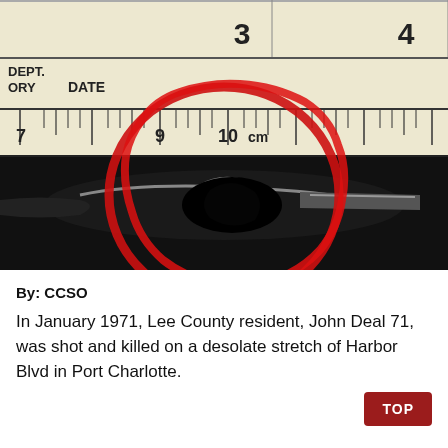[Figure (photo): Forensic/evidence photo showing a close-up of what appears to be a bullet or fragment placed on a ruler scale (marked in centimeters, with numbers 3, 4, 7, 9, 10 cm visible), with 'DEPT.' and 'ORY' and 'DATE' text on ruler label area. A red hand-drawn circle highlights the object. Bottom half shows the dark background with the physical specimen.]
By: CCSO
In January 1971, Lee County resident, John Deal 71, was shot and killed on a desolate stretch of Harbor Blvd in Port Charlotte.